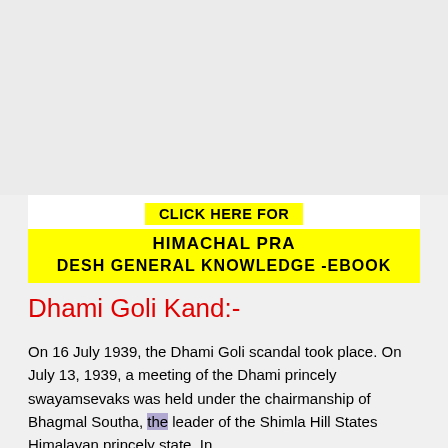[Figure (other): Gray advertisement/image placeholder area at top of page]
CLICK HERE FOR HIMACHAL PRA DESH GENERAL KNOWLEDGE -EBOOK
Dhami Goli Kand:-
On 16 July 1939, the Dhami Goli scandal took place. On July 13, 1939, a meeting of the Dhami princely swayamsevaks was held under the chairmanship of Bhagmal Southa, the leader of the Shimla Hill States Himalayan princely state. In